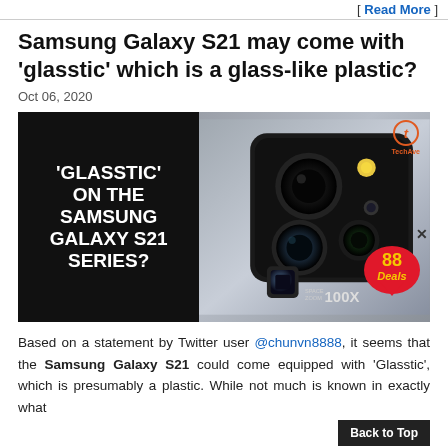[ Read More ]
Samsung Galaxy S21 may come with 'glasstic' which is a glass-like plastic?
Oct 06, 2020
[Figure (photo): Samsung Galaxy S20 Ultra smartphone showing camera module with 100X Space Zoom, overlaid with text reading 'GLASSTIC' ON THE SAMSUNG GALAXY S21 SERIES? on dark background. TechAve logo and 88 Deals badge visible.]
Based on a statement by Twitter user @chunvn8888, it seems that the Samsung Galaxy S21 could come equipped with 'Glasstic', which is presumably a plastic. While not much is known in exactly what